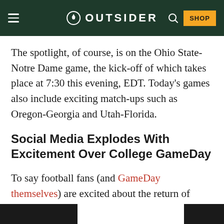OUTSIDER
The spotlight, of course, is on the Ohio State-Notre Dame game, the kick-off of which takes place at 7:30 this evening, EDT. Today's games also include exciting match-ups such as Oregon-Georgia and Utah-Florida.
Social Media Explodes With Excitement Over College GameDay
To say football fans (and GameDay themselves) are excited about the return of College GameDay would be a dramatic